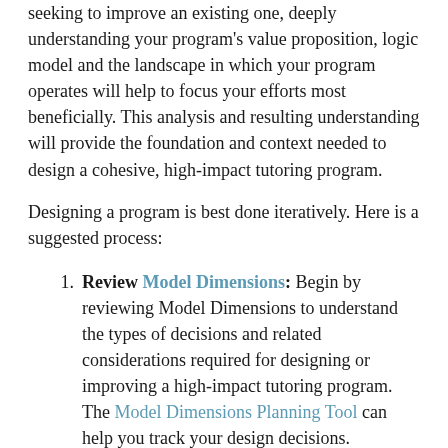seeking to improve an existing one, deeply understanding your program's value proposition, logic model and the landscape in which your program operates will help to focus your efforts most beneficially. This analysis and resulting understanding will provide the foundation and context needed to design a cohesive, high-impact tutoring program.
Designing a program is best done iteratively. Here is a suggested process:
Review Model Dimensions: Begin by reviewing Model Dimensions to understand the types of decisions and related considerations required for designing or improving a high-impact tutoring program. The Model Dimensions Planning Tool can help you track your design decisions.
Develop a Program Focus: